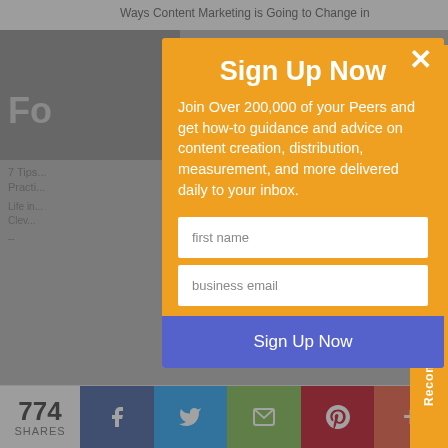[Figure (screenshot): Background webpage screenshot showing an article page with text content, a Forbes-style image, and a 'Recommended for you' sidebar tab on the right. Bottom share bar shows 774 SHARES with Facebook, Twitter, email, Pinterest, and add buttons.]
Sign Up Now
Join Over 200,000 of your Peers and get how-to guidance and advice on content creation, distribution, measurement, and more delivered daily to your inbox.
first name
business email
Sign Up Now